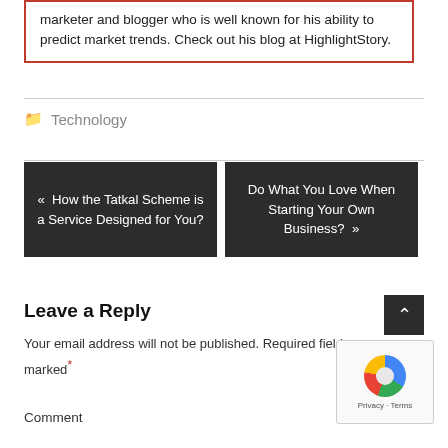marketer and blogger who is well known for his ability to predict market trends. Check out his blog at HighlightStory.
Technology
« How the Tatkal Scheme is a Service Designed for You?
Do What You Love When Starting Your Own Business? »
Leave a Reply
Your email address will not be published. Required fields are marked *
Comment